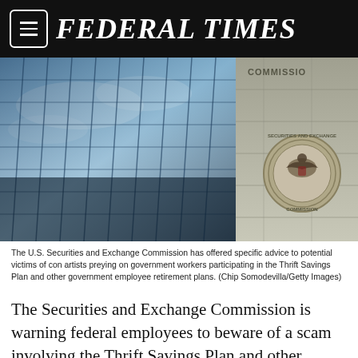FEDERAL TIMES
[Figure (photo): Exterior of U.S. Securities and Exchange Commission building showing glass facade reflecting clouds and stone wall with SEC seal and COMMISSION text]
The U.S. Securities and Exchange Commission has offered specific advice to potential victims of con artists preying on government workers participating in the Thrift Savings Plan and other government employee retirement plans. (Chip Somodevilla/Getty Images)
The Securities and Exchange Commission is warning federal employees to beware of a scam involving the Thrift Savings Plan and other government employee retirement plans.